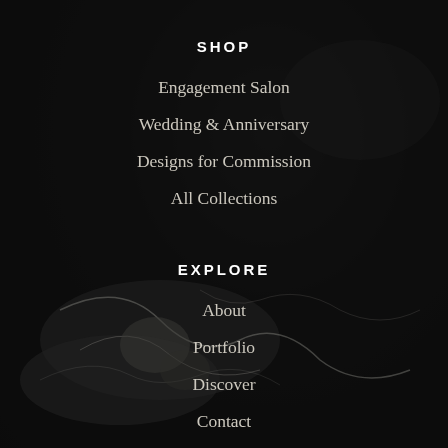SHOP
Engagement Salon
Wedding & Anniversary
Designs for Commission
All Collections
EXPLORE
About
Portfolio
Discover
Contact